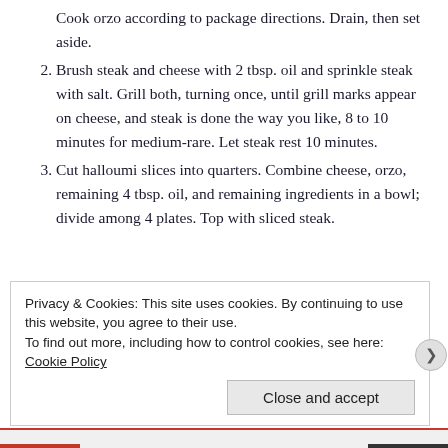Cook orzo according to package directions. Drain, then set aside.
2. Brush steak and cheese with 2 tbsp. oil and sprinkle steak with salt. Grill both, turning once, until grill marks appear on cheese, and steak is done the way you like, 8 to 10 minutes for medium-rare. Let steak rest 10 minutes.
3. Cut halloumi slices into quarters. Combine cheese, orzo, remaining 4 tbsp. oil, and remaining ingredients in a bowl; divide among 4 plates. Top with sliced steak.
Privacy & Cookies: This site uses cookies. By continuing to use this website, you agree to their use.
To find out more, including how to control cookies, see here:
Cookie Policy
Close and accept